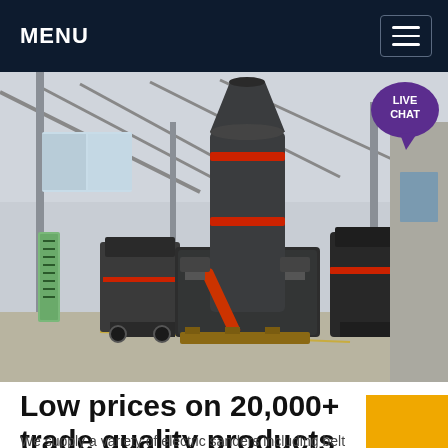MENU
[Figure (photo): Industrial machinery in a factory/warehouse setting. Large gray grinding mill machines with red accents on the floor of a spacious industrial building with steel roof trusses. Multiple machines visible including a tall vertical mill in the center and smaller crushers.]
Low prices on 20,000+ trade quality products
We supply a variety of electric sanders including belt